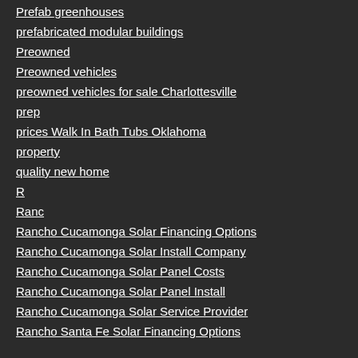Prefab greenhouses
prefabricated modular buildings
Preowned
Preowned vehicles
preowned vehicles for sale Charlottesville
prep
prices Walk In Bath Tubs Oklahoma
property
quality new home
R
Ranc
Rancho Cucamonga Solar Financing Options
Rancho Cucamonga Solar Install Company
Rancho Cucamonga Solar Panel Costs
Rancho Cucamonga Solar Panel Install
Rancho Cucamonga Solar Service Provider
Rancho Santa Fe Solar Financing Options